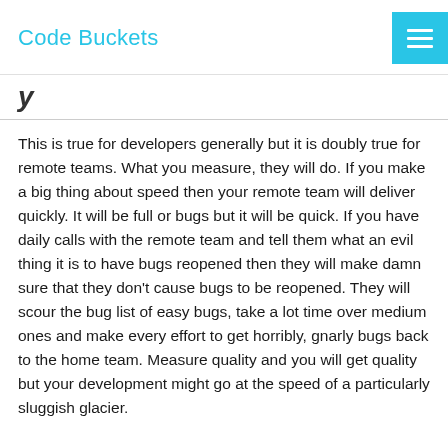Code Buckets
y
This is true for developers generally but it is doubly true for remote teams. What you measure, they will do. If you make a big thing about speed then your remote team will deliver quickly. It will be full or bugs but it will be quick. If you have daily calls with the remote team and tell them what an evil thing it is to have bugs reopened then they will make damn sure that they don’t cause bugs to be reopened. They will scour the bug list of easy bugs, take a lot time over medium ones and make every effort to get horribly, gnarly bugs back to the home team. Measure quality and you will get quality but your development might go at the speed of a particularly sluggish glacier.